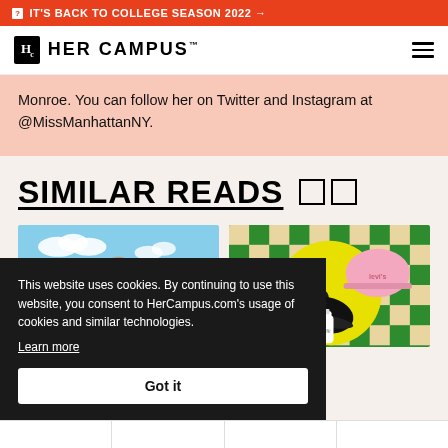IT'S BACK TO COLLEGE SEASON 2022 →
HER CAMPUS
Monroe. You can follow her on Twitter and Instagram at @MissManhattanNY.
SIMILAR READS
[Figure (illustration): Illustrated card showing a sunny sky with green hills]
[Figure (photo): Product photo on green/yellow checkerboard background showing black shoes, pink Levi's cap, and a milk bottle]
This website uses cookies. By continuing to use this website, you consent to HerCampus.com's usage of cookies and similar technologies.
Learn more
Got it